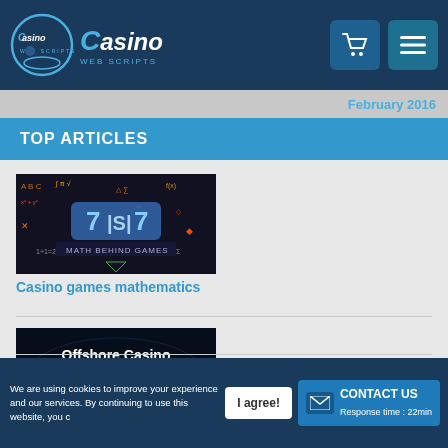Casino Web Scripts
TOP ARTICLES
[Figure (illustration): Casino games mathematics thumbnail - blackboard with math equations and 7|S|7 slot symbols]
Casino games mathematics
[Figure (illustration): Offshore Casino License Solutions thumbnail - dark background with map and glowing blue lines]
How to Obtain Offshore Gambling License for Online Casino
We are using cookies to improve your experience and our services. By continuing to use this website, you agree | I agree! | CONTACT US Response time : 22min